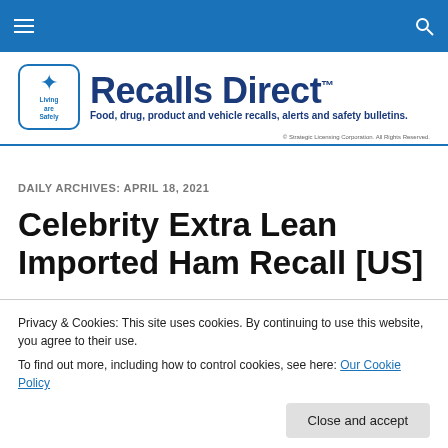Navigation bar with hamburger menu and search icon
[Figure (logo): Recalls Direct logo with Living Safely shield icon, tagline: Food, drug, product and vehicle recalls, alerts and safety bulletins.]
DAILY ARCHIVES: APRIL 18, 2021
Celebrity Extra Lean Imported Ham Recall [US]
Privacy & Cookies: This site uses cookies. By continuing to use this website, you agree to their use. To find out more, including how to control cookies, see here: Our Cookie Policy